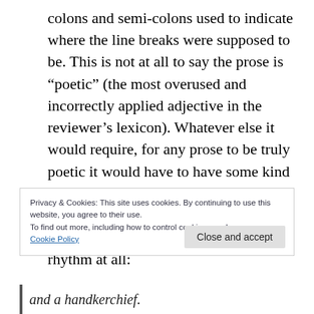colons and semi-colons used to indicate where the line breaks were supposed to be. This is not at all to say the prose is “poetic” (the most overused and incorrectly applied adjective in the reviewer’s lexicon). Whatever else it would require, for any prose to be truly poetic it would have to have some kind of regular rhythm to it and not just be a pile of dreamy images. Atwood’s prose is like bad free verse in that it has no rhythm at all:
Privacy & Cookies: This site uses cookies. By continuing to use this website, you agree to their use.
To find out more, including how to control cookies, see here:
Cookie Policy
Close and accept
and a handkerchief.